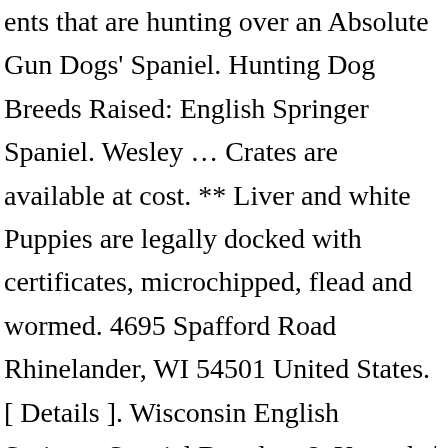ents that are hunting over an Absolute Gun Dogs' Spaniel. Hunting Dog Breeds Raised: English Springer Spaniel. Wesley … Crates are available at cost. ** Liver and white Puppies are legally docked with certificates, microchipped, flead and wormed. 4695 Spafford Road Rhinelander, WI 54501 United States. [ Details ]. Wisconsin English Springer Spaniel Breeders & Kennels | Wisconsin English Springer Spaniels For Sale. Northern Ireland (1) East Midlands (1) Scotland (1) Wales (1) My budget is ... Springer spaniel puppies for sale born 30th December 2020.